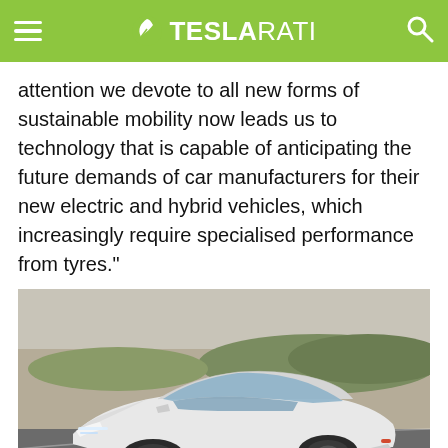TESLARATI
attention we devote to all new forms of sustainable mobility now leads us to technology that is capable of anticipating the future demands of car manufacturers for their new electric and hybrid vehicles, which increasingly require specialised performance from tyres."
[Figure (photo): White Lucid Air electric sedan driving on a curved racetrack, photographed from a low front-three-quarter angle with motion blur on the road surface and background.]